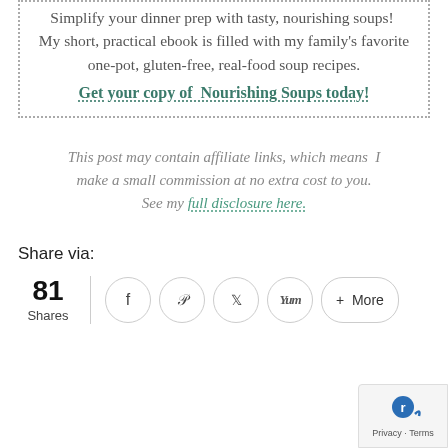Simplify your dinner prep with tasty, nourishing soups!  My short, practical ebook is filled with my family's favorite one-pot, gluten-free, real-food soup recipes.
Get your copy of Nourishing Soups today!
This post may contain affiliate links, which means I make a small commission at no extra cost to you. See my full disclosure here.
Share via:
81 Shares